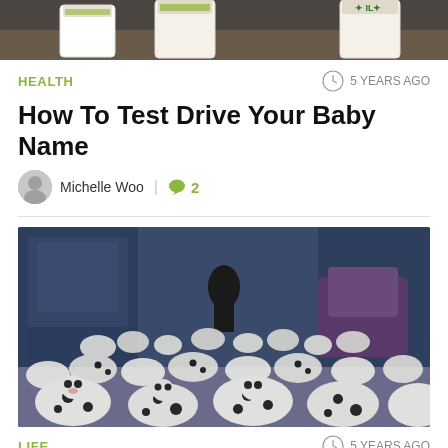[Figure (photo): Top cropped photo showing Starbucks coffee cups on a table]
HEALTH
5 YEARS AGO
How To Test Drive Your Baby Name
Michelle Woo  |  2
[Figure (illustration): Scene from 101 Dalmatians animated film showing many dalmatian puppies filling a room]
LIFE
5 YEARS AGO